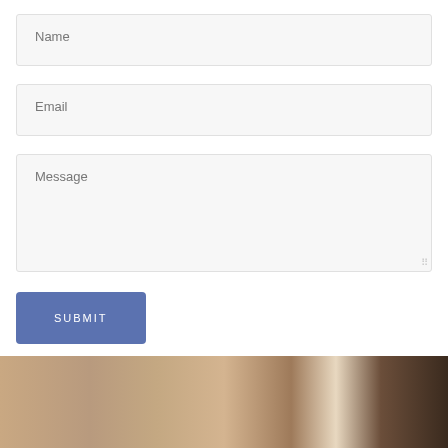Name
Email
Message
SUBMIT
[Figure (photo): Partial photo of a person with blonde/light brown hair, cropped at the bottom of the page]